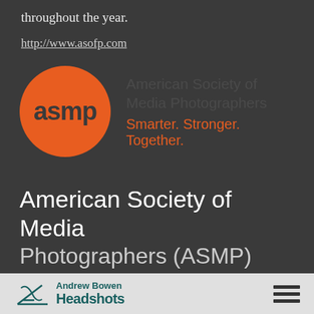throughout the year.
http://www.asofp.com
[Figure (logo): ASMP logo: orange circle with 'asmp' text in dark, beside text 'American Society of Media Photographers' and tagline 'Smarter. Stronger. Together.' in orange]
American Society of Media Photographers (ASMP)
[Figure (logo): Andrew Bowen Headshots logo with teal script initials and text, plus hamburger menu icon]